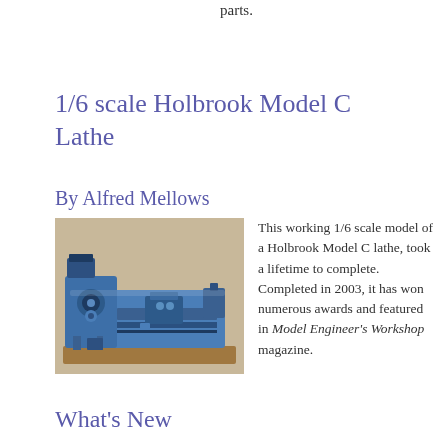parts.
1/6 scale Holbrook Model C Lathe
By Alfred Mellows
[Figure (photo): Photo of a 1/6 scale model of a Holbrook Model C lathe, a blue metal lathe on a wooden base]
This working 1/6 scale model of a Holbrook Model C lathe, took a lifetime to complete. Completed in 2003, it has won numerous awards and featured in Model Engineer's Workshop magazine.
What's New